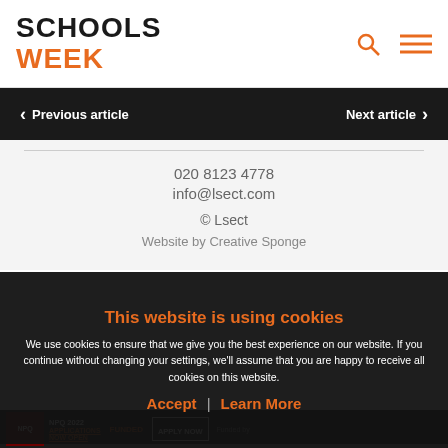SCHOOLS WEEK
Previous article   Next article
020 8123 4778
info@lsect.com
© Lsect
Website by Creative Sponge
This website is using cookies
We use cookies to ensure that we give you the best experience on our website. If you continue without changing your settings, we'll assume that you are happy to receive all cookies on this website.
Accept | Learn More
NPQ 2022 APPLICATIONS NOW OPEN   FUNDED   APPLY NOW   Funded by